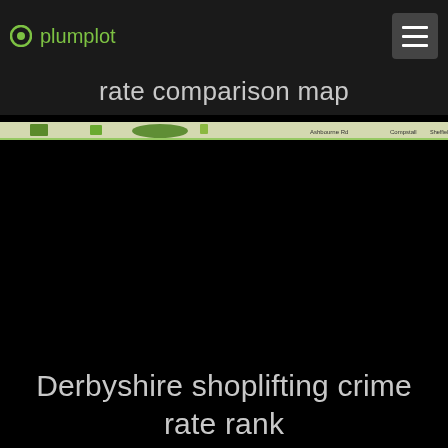plumplot
rate comparison map
[Figure (map): A thin horizontal map strip showing a geographic comparison map with green highlighted regions on a light background, with location labels visible]
Derbyshire shoplifting crime rate rank